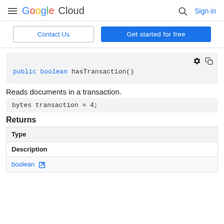Google Cloud  Sign in
Contact Us | Get started for free
[Figure (screenshot): Code block showing: public boolean hasTransaction()]
Reads documents in a transaction.
Returns
| Type | Description |
| --- | --- |
| boolean ↗ |  |